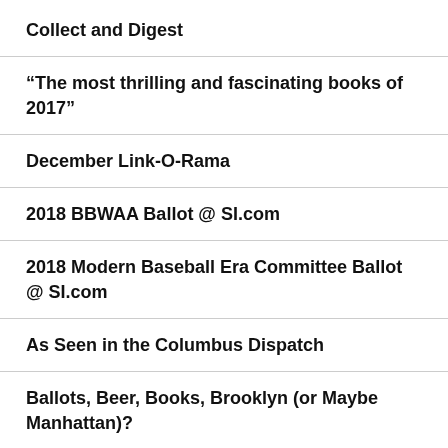Collect and Digest
“The most thrilling and fascinating books of 2017”
December Link-O-Rama
2018 BBWAA Ballot @ SI.com
2018 Modern Baseball Era Committee Ballot @ SI.com
As Seen in the Columbus Dispatch
Ballots, Beer, Books, Brooklyn (or Maybe Manhattan)?
2006 BBWAA Ballot @ BP